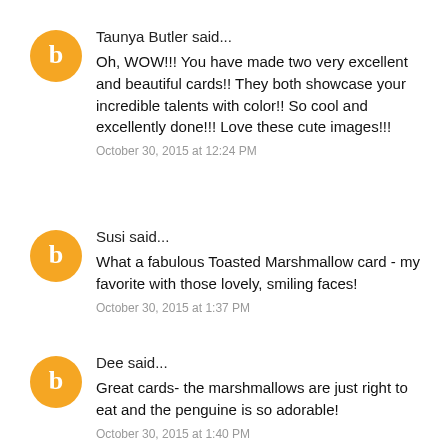Taunya Butler said...
Oh, WOW!!! You have made two very excellent and beautiful cards!! They both showcase your incredible talents with color!! So cool and excellently done!!! Love these cute images!!!
October 30, 2015 at 12:24 PM
Susi said...
What a fabulous Toasted Marshmallow card - my favorite with those lovely, smiling faces!
October 30, 2015 at 1:37 PM
Dee said...
Great cards- the marshmallows are just right to eat and the penguine is so adorable!
October 30, 2015 at 1:40 PM